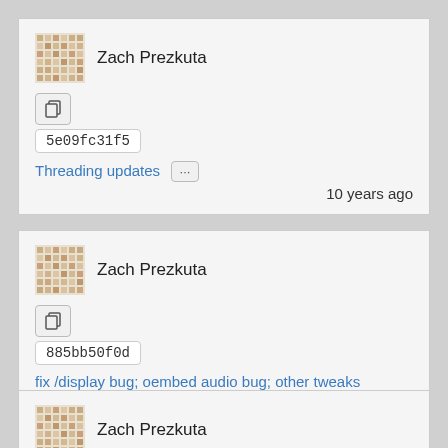Zach Prezkuta
5e09fc31f5
Threading updates
10 years ago
Zach Prezkuta
885bb50f0d
fix /display bug; oembed audio bug; other tweaks
10 years ago
Zach Prezkuta